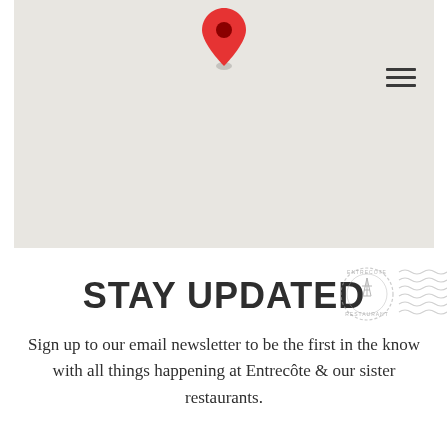[Figure (map): A simplified map with a red location pin marker in the upper center area, and a hamburger menu icon in the upper right. The map background is a light beige/gray color typical of a Google Maps style interface.]
STAY UPDATED
Sign up to our email newsletter to be the first in the know with all things happening at Entrecôte & our sister restaurants.